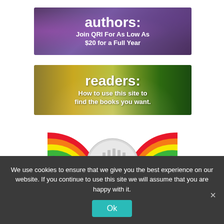[Figure (illustration): Purple/violet themed banner ad with text: 'authors: Join QRI For As Low As $20 for a Full Year']
[Figure (illustration): Golden fields/countryside landscape banner ad with text: 'readers: How to use this site to find the books you want.']
[Figure (illustration): Lesfic Bard Awards logo with rainbow stripes and a silver award medal graphic]
We use cookies to ensure that we give you the best experience on our website. If you continue to use this site we will assume that you are happy with it.